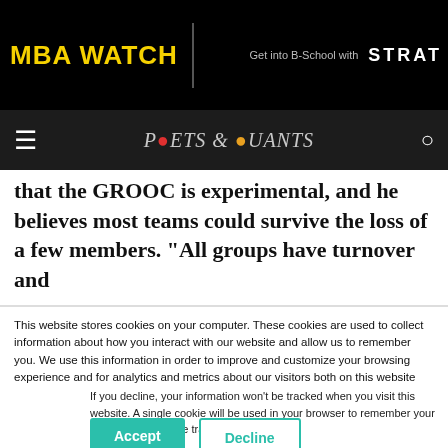MBA WATCH | Get into B-School with STRAT
[Figure (logo): Poets & Quants logo with navigation bar]
that the GROOC is experimental, and he believes most teams could survive the loss of a few members. “All groups have turnover and
This website stores cookies on your computer. These cookies are used to collect information about how you interact with our website and allow us to remember you. We use this information in order to improve and customize your browsing experience and for analytics and metrics about our visitors both on this website and other media. To find out more about the cookies we use, see our Privacy Policy.
If you decline, your information won’t be tracked when you visit this website. A single cookie will be used in your browser to remember your preference not to be tracked.